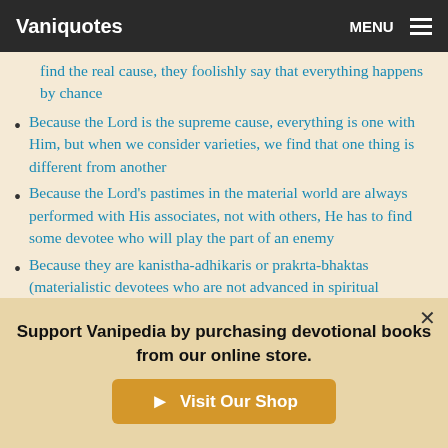Vaniquotes | MENU
find the real cause, they foolishly say that everything happens by chance
Because the Lord is the supreme cause, everything is one with Him, but when we consider varieties, we find that one thing is different from another
Because the Lord's pastimes in the material world are always performed with His associates, not with others, He has to find some devotee who will play the part of an enemy
Because they are kanistha-adhikaris or prakrta-bhaktas (materialistic devotees who are not advanced in spiritual
Support Vanipedia by purchasing devotional books from our online store.
Visit Our Shop